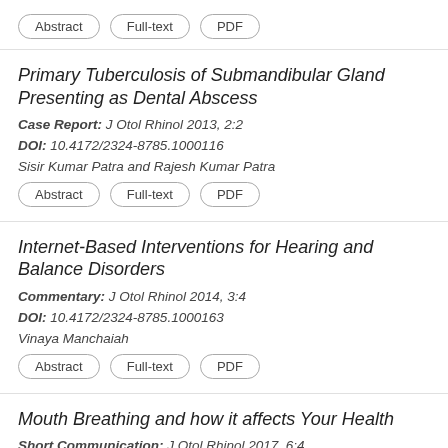[buttons: Abstract, Full-text, PDF]
Primary Tuberculosis of Submandibular Gland Presenting as Dental Abscess
Case Report: J Otol Rhinol 2013, 2:2
DOI: 10.4172/2324-8785.1000116
Sisir Kumar Patra and Rajesh Kumar Patra
[buttons: Abstract, Full-text, PDF]
Internet-Based Interventions for Hearing and Balance Disorders
Commentary: J Otol Rhinol 2014, 3:4
DOI: 10.4172/2324-8785.1000163
Vinaya Manchaiah
[buttons: Abstract, Full-text, PDF]
Mouth Breathing and how it affects Your Health
Short Communication: J Otol Rhinol 2017, 6:4
DOI: 10.4172/2324-8785.1000322